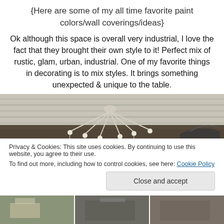{Here are some of my all time favorite paint colors/wall coverings/ideas}
Ok although this space is overall very industrial, I love the fact that they brought their own style to it! Perfect mix of rustic, glam, urban, industrial. One of my favorite things in decorating is to mix styles. It brings something unexpected & unique to the table.
[Figure (photo): Interior photo showing a decorative crystal chandelier hanging from a rustic wooden ceiling, with a dark curved chair partially visible on the right.]
Privacy & Cookies: This site uses cookies. By continuing to use this website, you agree to their use.
To find out more, including how to control cookies, see here: Cookie Policy
Close and accept
[Figure (photo): Bottom strip showing three partial interior/exterior photos.]